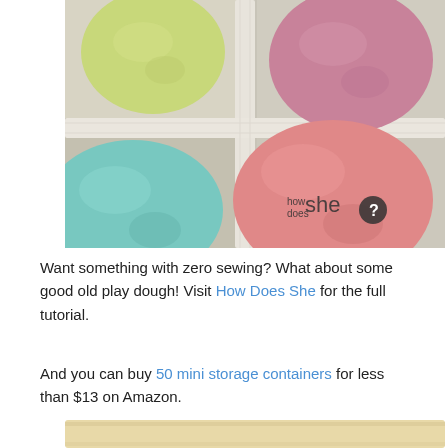[Figure (photo): Photo of colorful playdough balls (yellow, pink, teal, salmon/pink) arranged in a white wooden box with dividers. A 'how does she?' logo watermark appears in the bottom right corner of the image.]
Want something with zero sewing?  What about some good old play dough! Visit How Does She for the full tutorial.
And you can buy 50 mini storage containers for less than $13 on Amazon.
[Figure (photo): Partial view of a wooden or light-colored flat object visible at the very bottom of the page, cropped.]